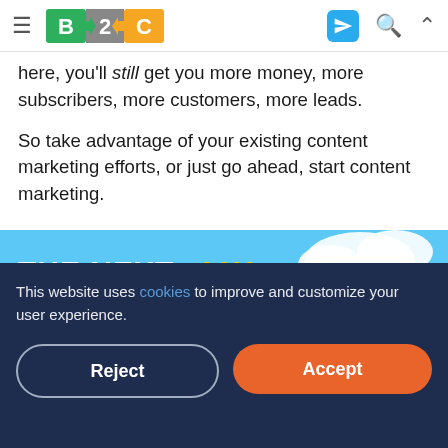B2C navigation bar with hamburger menu, B2C logo, Telegram icon, search icon, and up arrow icon
here, you'll still get you more money, more subscribers, more customers, more leads.
So take advantage of your existing content marketing efforts, or just go ahead, start content marketing.
[Figure (advertisement): Tamadoge advertisement banner. Sky blue background with clouds. Text: THE NEXT 10X MEME COIN! TAMADOGE BETA SALE LIVE ▶. Features a cartoon dog on a rocket and Tamadoge logo with coin.]
This website uses cookies to improve and customize your user experience.